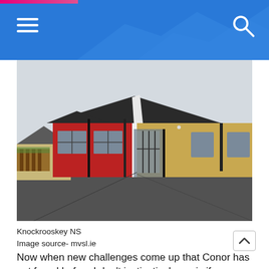Navigation header with hamburger menu and search icon
[Figure (photo): Exterior photo of Knockrooskey NS school building showing red and yellow rendered walls, dark tile roof, glass entrance vestibule, and tarmac playground in foreground under overcast sky]
Knockrooskey NS
Image source- mvsl.ie
Now when new challenges come up that Conor has not faced before I don't instinctively panic if